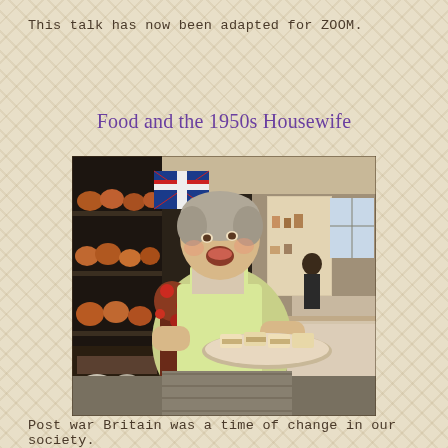This talk has now been adapted for ZOOM.
Food and the 1950s Housewife
[Figure (photo): A woman in a floral dress and pale yellow apron, mouth open in surprise, holding a large plate of sandwiches in a Victorian-style kitchen with copper pots on shelves and a Union Jack flag visible. Another person is visible in the background.]
Post war Britain was a time of change in our society.